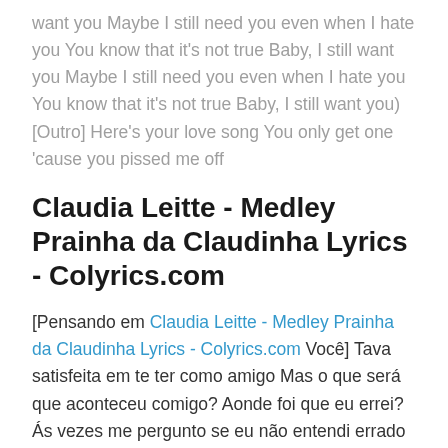want you Maybe I still need you even when I hate you You know that it's not true Baby, I still want you Maybe I still need you even when I hate you You know that it's not true Baby, I still want you) [Outro] Here's your love song You only get one 'cause you pissed me off
Claudia Leitte - Medley Prainha da Claudinha Lyrics - Colyrics.com
[Pensando em Claudia Leitte - Medley Prainha da Claudinha Lyrics - Colyrics.com Você] Tava satisfeita em te ter como amigo Mas o que será que aconteceu comigo? Aonde foi que eu errei? Ás vezes me pergunto se eu não entendi errado Grande amizade com estar apaixonado Se for só isso logo vai passar Mas quando toca o telefone, será você? O que estiver fazendo eu paro de fazer E se fica muito tempo sem me ligar Arranjo uma desculpa pra te